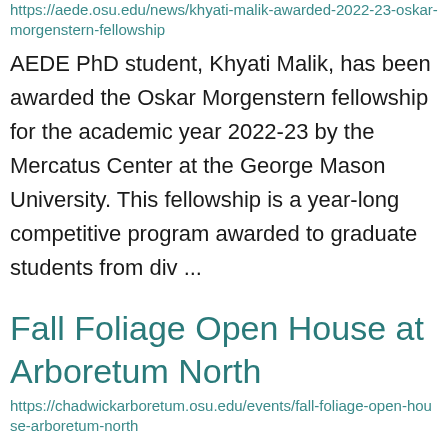https://aede.osu.edu/news/khyati-malik-awarded-2022-23-oskar-morgenstern-fellowship
AEDE PhD student, Khyati Malik, has been awarded the Oskar Morgenstern fellowship for the academic year 2022-23 by the Mercatus Center at the George Mason University. This fellowship is a year-long competitive program awarded to graduate students from div ...
Fall Foliage Open House at Arboretum North
https://chadwickarboretum.osu.edu/events/fall-foliage-open-house-arboretum-north
Have you ever visited Arboretum North? Chadwick Arboretum boasts to share it...